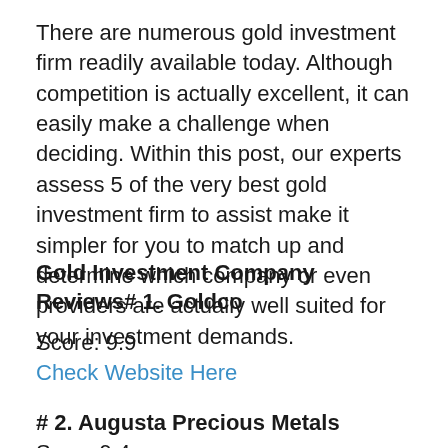There are numerous gold investment firm readily available today. Although competition is actually excellent, it can easily make a challenge when deciding. Within this post, our experts assess 5 of the very best gold investment firm to assist make it simpler for you to match up and determine which company or even providers are actually well suited for your investment demands.
Gold Investment Company Reviews# 1. Goldco
Score: 9.9
Check Website Here
# 2. Augusta Precious Metals
Score 9.4